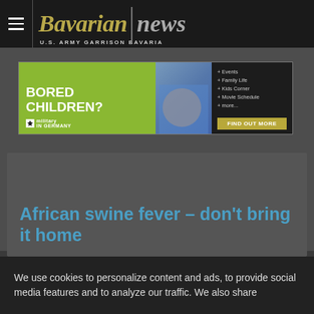Bavarian news — U.S. ARMY GARRISON BAVARIA
[Figure (infographic): Military in Germany advertisement banner with 'BORED CHILDREN?' text on green background, child photo, and links to Events, Family Life, Kids Corner, Movie Schedule, more. Find Out More button.]
African swine fever – don't bring it home
We use cookies to personalize content and ads, to provide social media features and to analyze our traffic. We also share